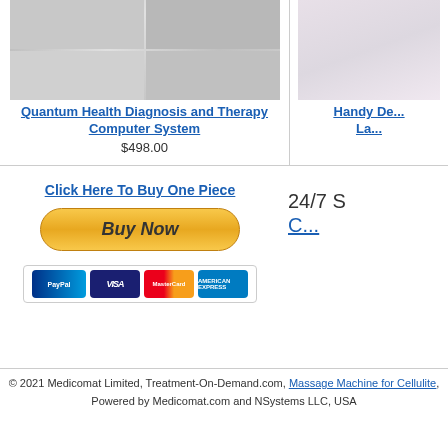[Figure (photo): Quantum Health Diagnosis and Therapy Computer System product collage showing device and people using it]
Quantum Health Diagnosis and Therapy Computer System
$498.00
[Figure (photo): Handy De... La... product image, partially visible]
Handy De... La...
Click Here To Buy One Piece
[Figure (other): Buy Now button with PayPal, Visa, MasterCard, American Express payment icons]
24/7 S... C...
© 2021 Medicomat Limited, Treatment-On-Demand.com, Massage Machine for Cellulite, Powered by Medicomat.com and NSystems LLC, USA